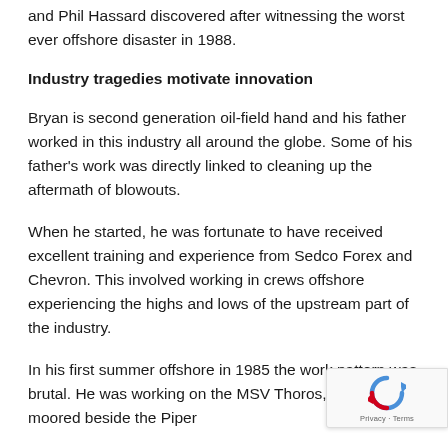and Phil Hassard discovered after witnessing the worst ever offshore disaster in 1988.
Industry tragedies motivate innovation
Bryan is second generation oil-field hand and his father worked in this industry all around the globe. Some of his father's work was directly linked to cleaning up the aftermath of blowouts.
When he started, he was fortunate to have received excellent training and experience from Sedco Forex and Chevron. This involved working in crews offshore experiencing the highs and lows of the upstream part of the industry.
In his first summer offshore in 1985 the work pattern was brutal. He was working on the MSV Thoros, which was moored beside the Piper